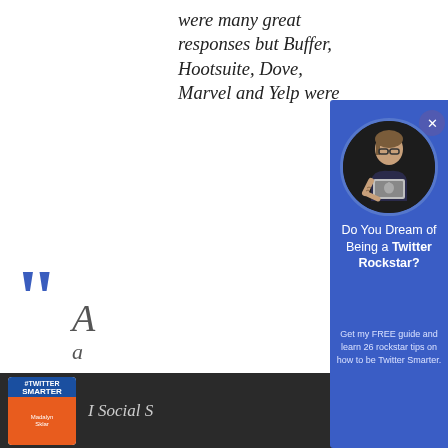were many great responses but Buffer, Hootsuite, Dove, Marvel and Yelp were
A... a... t... M... S... #...
[Figure (photo): A modal popup overlay with blue background showing a woman holding a laptop in a circular photo, with headline 'Do You Dream of Being a Twitter Rockstar?' and body text 'Get my FREE guide and learn 26 rockstar tips on how to be Twitter Smarter.' A close X button is in the top right corner.]
[Figure (photo): Bottom bar showing a podcast badge with #TwitterSmarter branding and 'I Social S...' text label on dark background]